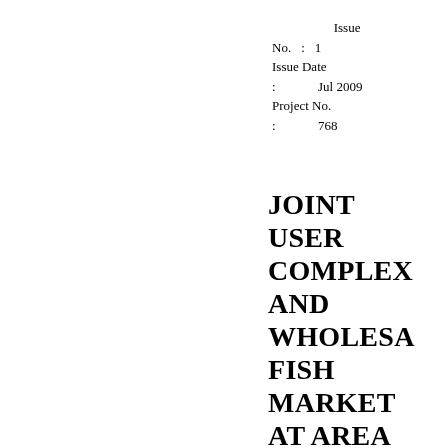Issue No. : 1 Issue Date : Jul 2009 Project No. : 768
JOINT USER COMPLEX AND WHOLESALE FISH MARKET AT AREA 44, TUEN MUN